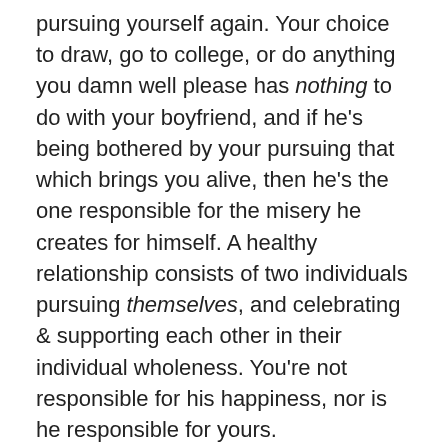pursuing yourself again. Your choice to draw, go to college, or do anything you damn well please has nothing to do with your boyfriend, and if he's being bothered by your pursuing that which brings you alive, then he's the one responsible for the misery he creates for himself. A healthy relationship consists of two individuals pursuing themselves, and celebrating & supporting each other in their individual wholeness. You're not responsible for his happiness, nor is he responsible for yours.
You will feel sexy when you start choosing & claiming your own life again & expressing your unique individuality. This isn't about your body. This is about you cherishing yourself through your time and attention. This is about you speaking up for what you want and what you don't want. This is about you owning that you CAN have freedom and joy when you choose it for yourself. All of your focus on